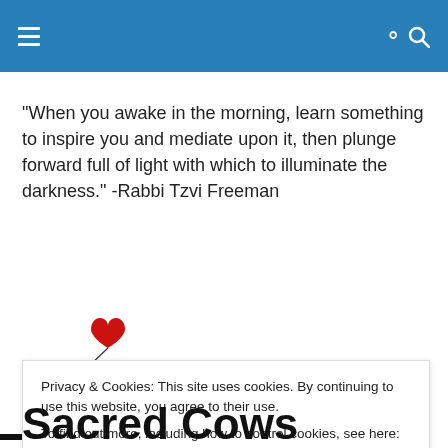"When you awake in the morning, learn something to inspire you and mediate upon it, then plunge forward full of light with which to illuminate the darkness." -Rabbi Tzvi Freeman
[Figure (illustration): Banksy-style illustration of a small girl reaching up toward a red heart-shaped balloon floating above a black platform/ledge]
Privacy & Cookies: This site uses cookies. By continuing to use this website, you agree to their use.
To find out more, including how to control cookies, see here: Cookie Policy
Close and accept
Sacred Cows